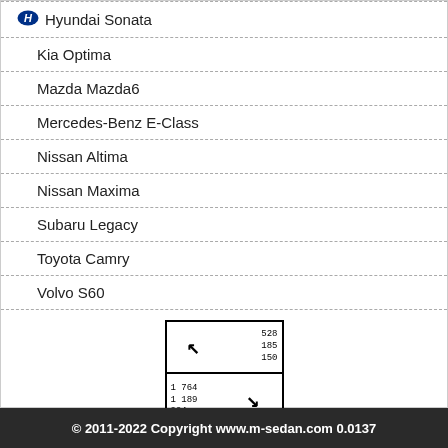Hyundai Sonata
Kia Optima
Mazda Mazda6
Mercedes-Benz E-Class
Nissan Altima
Nissan Maxima
Subaru Legacy
Toyota Camry
Volvo S60
[Figure (other): Data matrix / QR-like code with arrows and numbers: top-right shows 528, 185, 150; bottom-left shows 1 764, 1 189, 994]
© 2011-2022 Copyright www.m-sedan.com 0.0137